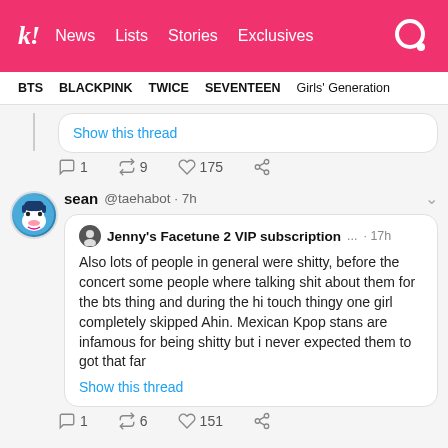k! News Lists Stories Exclusives
BTS BLACKPINK TWICE SEVENTEEN Girls' Generation
Show this thread
1  9  175
sean @taehabot · 7h
Jenny's Facetune 2 VIP subscription ... · 17h
Also lots of people in general were shitty, before the concert some people where talking shit about them for the bts thing and during the hi touch thingy one girl completely skipped Ahin. Mexican Kpop stans are infamous for being shitty but i never expected them to got that far
Show this thread
1  6  151